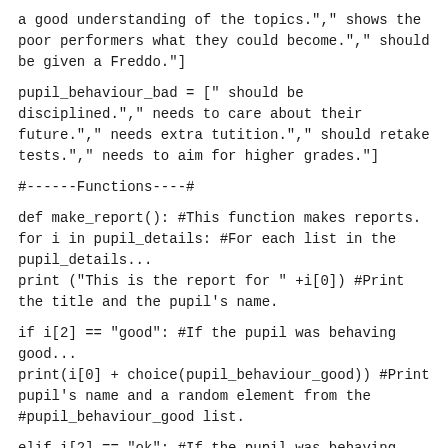a good understanding of the topics."," shows the poor performers what they could become."," should be given a Freddo."]
pupil_behaviour_bad = [" should be disciplined."," needs to care about their future."," needs extra tutition."," should retake tests."," needs to aim for higher grades."]
#------Functions----#
def make_report(): #This function makes reports.
for i in pupil_details: #For each list in the pupil_details...
print ("This is the report for " +i[0]) #Print the title and the pupil's name.
if i[2] == "good": #If the pupil was behaving good...
print(i[0] + choice(pupil_behaviour_good)) #Print pupil's name and a random element from the
#pupil_behaviour_good list.
elif i[2] == "ok": #If the pupil was behaving ok...
print(i[0] + choice(pupil_behaviour_ok)) #Print pupil's name and a random element from the
#pupil_behaviour_good list
else: #There is only one other option...
print(i[0] + choice(pupil_behaviour_bad)) #print pupil's name and a